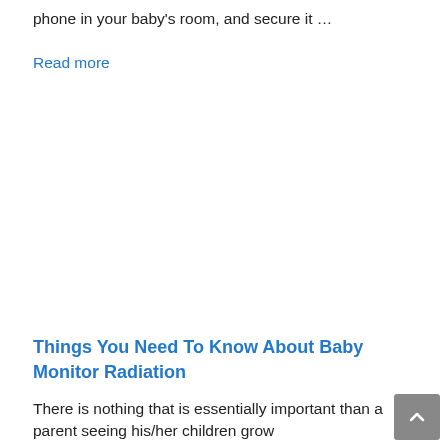phone in your baby's room, and secure it …
Read more
Things You Need To Know About Baby Monitor Radiation
There is nothing that is essentially important than a parent seeing his/her children grow